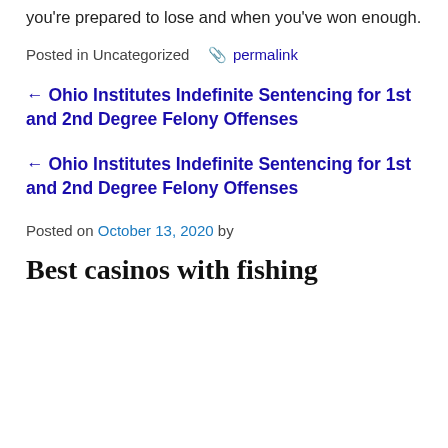you're prepared to lose and when you've won enough.
Posted in Uncategorized   🔗 permalink
← Ohio Institutes Indefinite Sentencing for 1st and 2nd Degree Felony Offenses
← Ohio Institutes Indefinite Sentencing for 1st and 2nd Degree Felony Offenses
Posted on October 13, 2020 by
Best casinos with fishing